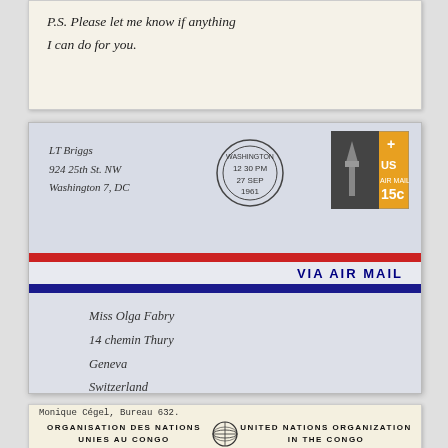[Figure (photo): Handwritten letter snippet showing 'P.S. Please let me know if anything I can do for you.']
[Figure (photo): Air mail envelope addressed to Miss Olga Fabry, 14 chemin Thury, Geneva, Switzerland. Return address: LT Briggs, 924 25th St. NW, Washington 7, DC. Postmarked Washington DC, 27 SEP 1961. US Air Mail 15c stamp. Red/white/blue air mail stripes with VIA AIR MAIL printed.]
[Figure (photo): United Nations Organization in the Congo letterhead. Shows: Monique Cegel, Bureau 632. French: ORGANISATION DES NATIONS UNIES AU CONGO. English: UNITED NATIONS ORGANIZATION IN THE CONGO. UN globe logo in center.]